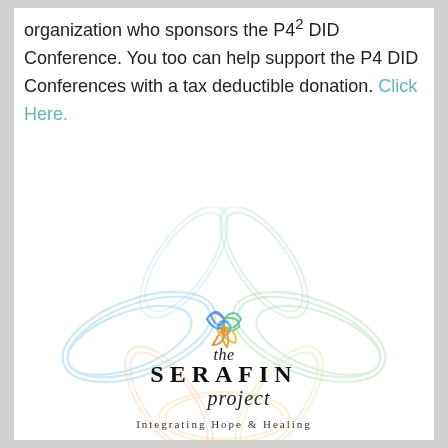organization who sponsors the P4² DID Conference. You too can help support the P4 DID Conferences with a tax deductible donation. Click Here.
[Figure (logo): The Serafin Project logo — a colorful flower/petal mandala in pastel rainbow colors (blue, teal, green, yellow, orange) with the text 'the SERAFIN project' and tagline 'Integrating Hope & Healing']